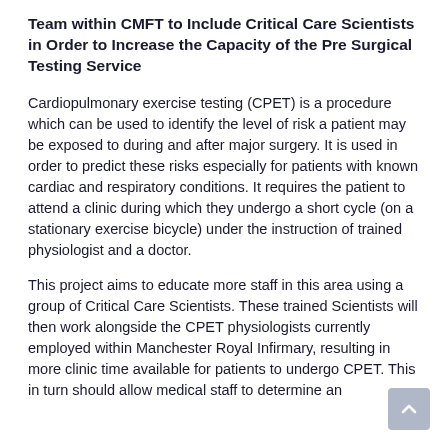Team within CMFT to Include Critical Care Scientists in Order to Increase the Capacity of the Pre Surgical Testing Service
Cardiopulmonary exercise testing (CPET) is a procedure which can be used to identify the level of risk a patient may be exposed to during and after major surgery. It is used in order to predict these risks especially for patients with known cardiac and respiratory conditions. It requires the patient to attend a clinic during which they undergo a short cycle (on a stationary exercise bicycle) under the instruction of trained physiologist and a doctor.
This project aims to educate more staff in this area using a group of Critical Care Scientists. These trained Scientists will then work alongside the CPET physiologists currently employed within Manchester Royal Infirmary, resulting in more clinic time available for patients to undergo CPET. This in turn should allow medical staff to determine an